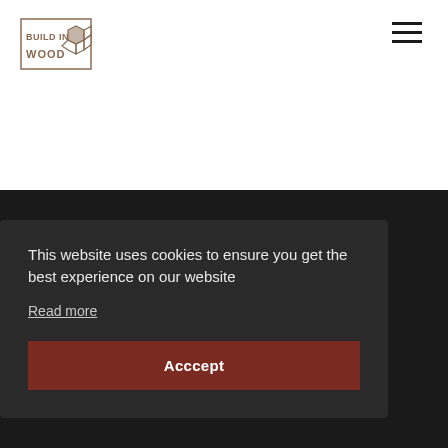[Figure (logo): BUILD IN WOOD logo with honeycomb graphic element, brown/tan color on white background]
[Figure (other): Hamburger menu icon (three horizontal lines) in top right corner]
This website uses cookies to ensure you get the best experience on our website
Read more
Acccept